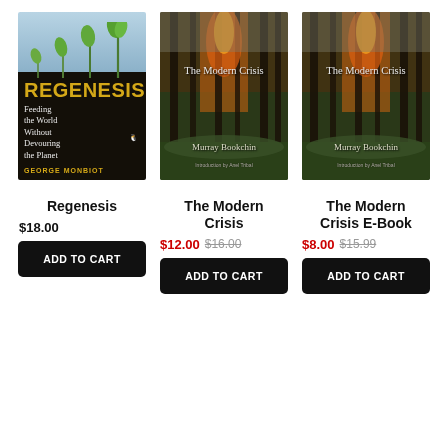[Figure (photo): Book cover: Regenesis - Feeding the World Without Devouring the Planet by George Monbiot. Dark background with sprouting seedlings and yellow title text.]
[Figure (photo): Book cover: The Modern Crisis by Murray Bookchin. Forest fire background with white title text.]
[Figure (photo): Book cover: The Modern Crisis by Murray Bookchin (E-Book edition). Forest fire background with white title text.]
Regenesis
$18.00
ADD TO CART
The Modern Crisis
$12.00 $16.00
ADD TO CART
The Modern Crisis E-Book
$8.00 $15.99
ADD TO CART